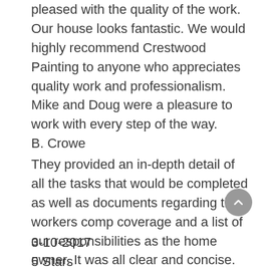pleased with the quality of the work. Our house looks fantastic. We would highly recommend Crestwood Painting to anyone who appreciates quality work and professionalism. Mike and Doug were a pleasure to work with every step of the way. B. Crowe
They provided an in-depth detail of all the tasks that would be completed as well as documents regarding their workers comp coverage and a list of our responsibilities as the home owner. It was all clear and concise.
3-10-2017
5 Stars